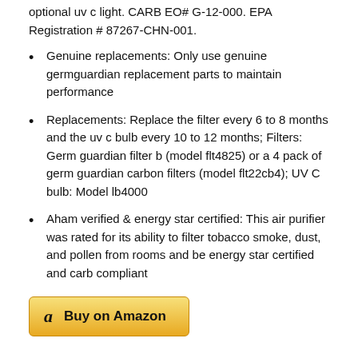optional uv c light. CARB EO# G-12-000. EPA Registration # 87267-CHN-001.
Genuine replacements: Only use genuine germguardian replacement parts to maintain performance
Replacements: Replace the filter every 6 to 8 months and the uv c bulb every 10 to 12 months; Filters: Germ guardian filter b (model flt4825) or a 4 pack of germ guardian carbon filters (model flt22cb4); UV C bulb: Model lb4000
Aham verified & energy star certified: This air purifier was rated for its ability to filter tobacco smoke, dust, and pollen from rooms and be energy star certified and carb compliant
Buy on Amazon
Amazon.com: Molekule Air Mini+ Small Room Air ...